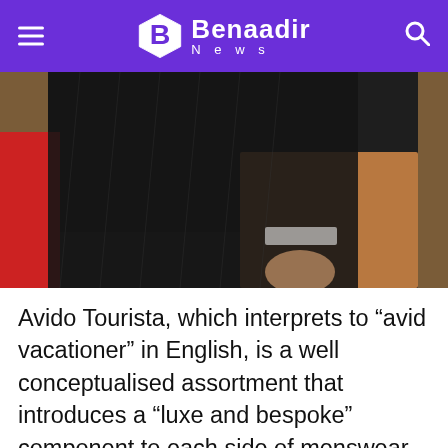Benaadir News
[Figure (photo): Close-up photo of a person wearing a dark patterned jacket, cropped at torso level, with a blurred warm-toned background and a red element visible on the left edge.]
Avido Tourista, which interprets to “avid vacationer” in English, is a well conceptualised assortment that introduces a “luxe and bespoke” component to each side of menswear. Within the new decade, the